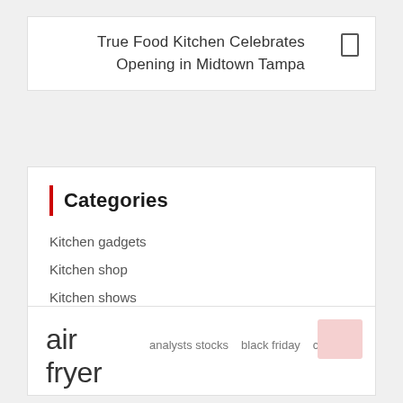True Food Kitchen Celebrates Opening in Midtown Tampa
Categories
Kitchen gadgets
Kitchen shop
Kitchen shows
Kitchen workshop
Kitchen company
air fryer   analysts stocks   black friday   cast iron
comments story   dishwasher safe